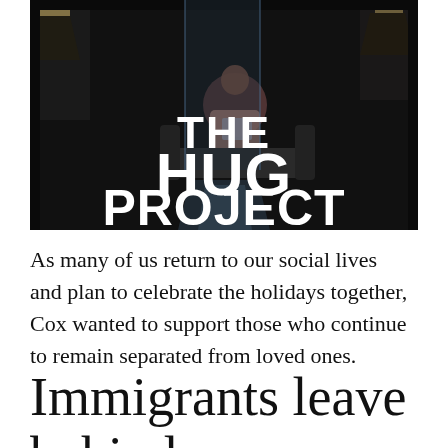[Figure (photo): Dark indoor scene showing a person sitting on a couch in a dimly lit room with lamps on either side. Bold white text overlaid reads 'THE HUG PROJECT' in large uppercase letters.]
As many of us return to our social lives and plan to celebrate the holidays together, Cox wanted to support those who continue to remain separated from loved ones.
Immigrants leave behind everything to